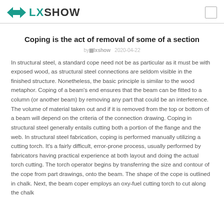LXSHOW
Coping is the act of removal of some of a section
by  lxshow   2020-04-22
In structural steel, a standard cope need not be as particular as it must be with exposed wood, as structural steel connections are seldom visible in the finished structure. Nonetheless, the basic principle is similar to the wood metaphor. Coping of a beam's end ensures that the beam can be fitted to a column (or another beam) by removing any part that could be an interference. The volume of material taken out and if it is removed from the top or bottom of a beam will depend on the criteria of the connection drawing. Coping in structural steel generally entails cutting both a portion of the flange and the web. In structural steel fabrication, coping is performed manually utilizing a cutting torch. It's a fairly difficult, error-prone process, usually performed by fabricators having practical experience at both layout and doing the actual torch cutting. The torch operator begins by transferring the size and contour of the cope from part drawings, onto the beam. The shape of the cope is outlined in chalk. Next, the beam coper employs an oxy-fuel cutting torch to cut along the chalk